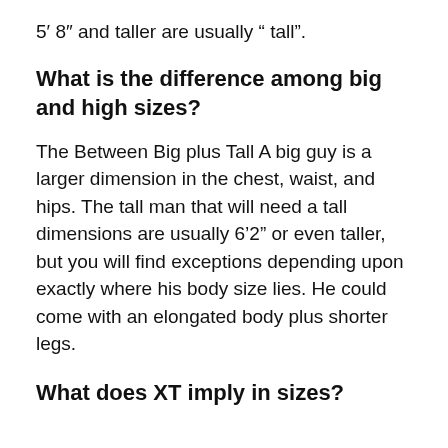5′ 8″ and taller are usually " tall".
What is the difference among big and high sizes?
The Between Big plus Tall A big guy is a larger dimension in the chest, waist, and hips. The tall man that will need a tall dimensions are usually 6'2" or even taller, but you will find exceptions depending upon exactly where his body size lies. He could come with an elongated body plus shorter legs.
What does XT imply in sizes?